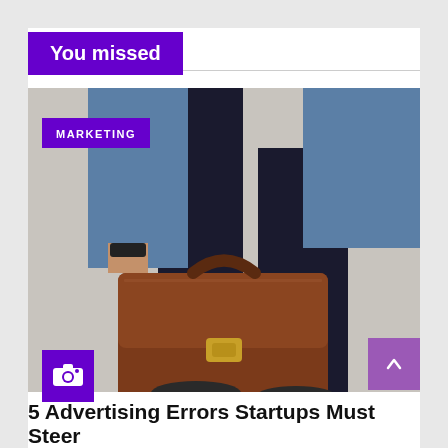You missed
[Figure (photo): Business person walking, carrying a brown leather briefcase, wearing dark trousers and blue jacket. Camera icon badge overlaid on image.]
MARKETING
5 Advertising Errors Startups Must Steer